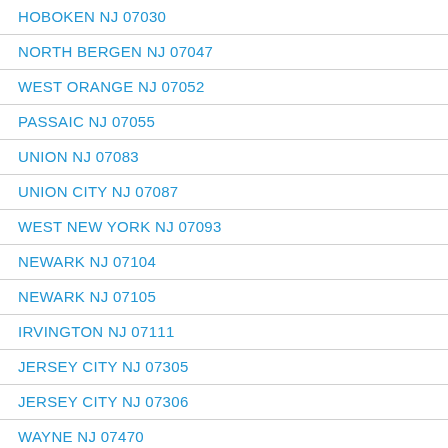HOBOKEN NJ 07030
NORTH BERGEN NJ 07047
WEST ORANGE NJ 07052
PASSAIC NJ 07055
UNION NJ 07083
UNION CITY NJ 07087
WEST NEW YORK NJ 07093
NEWARK NJ 07104
NEWARK NJ 07105
IRVINGTON NJ 07111
JERSEY CITY NJ 07305
JERSEY CITY NJ 07306
WAYNE NJ 07470